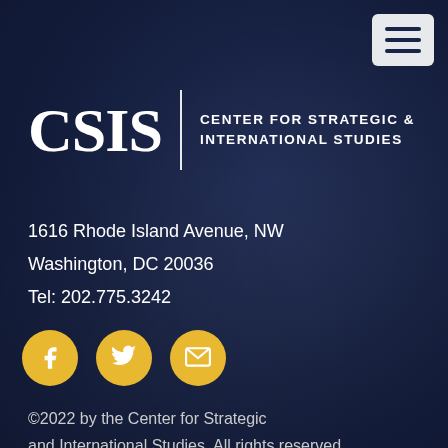[Figure (logo): CSIS - Center for Strategic & International Studies logo with white text on dark navy background]
1616 Rhode Island Avenue, NW
Washington, DC 20036
Tel: 202.775.3242
[Figure (infographic): Three yellow circular social media icons: Facebook (f), Twitter (bird), and Email (envelope)]
©2022 by the Center for Strategic and International Studies. All rights reserved.
Privacy Policy | Reprint Permissions